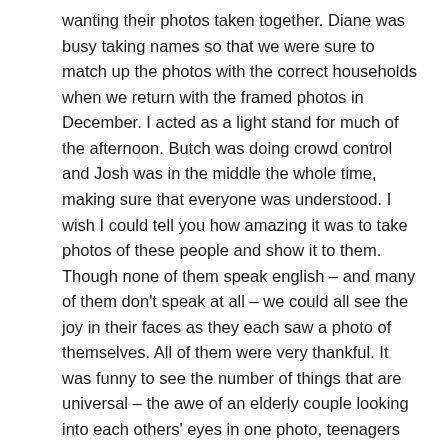wanting their photos taken together. Diane was busy taking names so that we were sure to match up the photos with the correct households when we return with the framed photos in December. I acted as a light stand for much of the afternoon. Butch was doing crowd control and Josh was in the middle the whole time, making sure that everyone was understood. I wish I could tell you how amazing it was to take photos of these people and show it to them. Though none of them speak english – and many of them don't speak at all – we could all see the joy in their faces as they each saw a photo of themselves. All of them were very thankful. It was funny to see the number of things that are universal – the awe of an elderly couple looking into each others' eyes in one photo, teenagers refusing to smile in a family picture and the fact the everyone feels joy knowing that they're worth photographing.